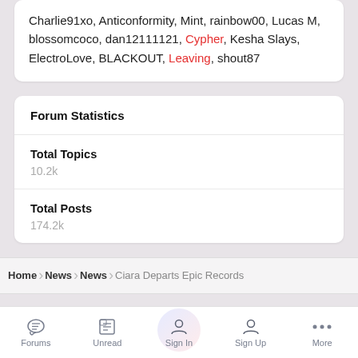Charlie91xo, Anticonformity, Mint, rainbow00, Lucas M, blossomcoco, dan12111121, Cypher, Kesha Slays, ElectroLove, BLACKOUT, Leaving, shout87
Forum Statistics
Total Topics
10.2k
Total Posts
174.2k
Home > News > News > Ciara Departs Epic Records
Forums  Unread  Sign In  Sign Up  More